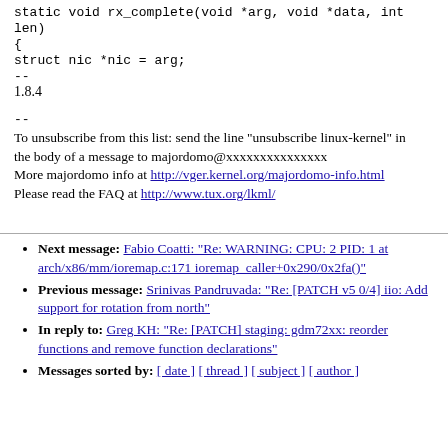static void rx_complete(void *arg, void *data, int len)
{
struct nic *nic = arg;
--
1.8.4
--
To unsubscribe from this list: send the line "unsubscribe linux-kernel" in
the body of a message to majordomo@xxxxxxxxxxxxxxx
More majordomo info at http://vger.kernel.org/majordomo-info.html
Please read the FAQ at http://www.tux.org/lkml/
Next message: Fabio Coatti: "Re: WARNING: CPU: 2 PID: 1 at arch/x86/mm/ioremap.c:171 ioremap_caller+0x290/0x2fa()"
Previous message: Srinivas Pandruvada: "Re: [PATCH v5 0/4] iio: Add support for rotation from north"
In reply to: Greg KH: "Re: [PATCH] staging: gdm72xx: reorder functions and remove function declarations"
Messages sorted by: [ date ] [ thread ] [ subject ] [ author ]